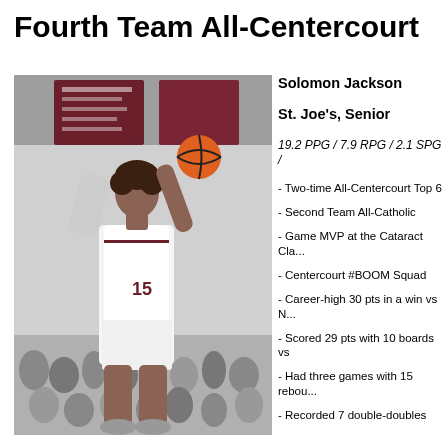Fourth Team All-Centercourt
[Figure (photo): Basketball player in white uniform shooting the ball in a gymnasium with crowd in background]
Solomon Jackson
St. Joe's, Senior
19.2 PPG / 7.9 RPG / 2.1 SPG /
- Two-time All-Centercourt Top 6
- Second Team All-Catholic
- Game MVP at the Cataract Cla...
- Centercourt #BOOM Squad
- Career-high 30 pts in a win vs N...
- Scored 29 pts with 10 boards vs
- Had three games with 15 rebou...
- Recorded 7 double-doubles